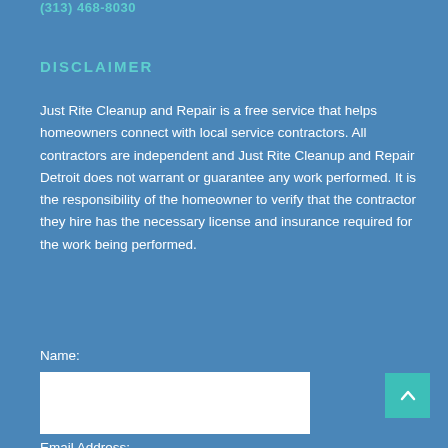(313) 468-8030
DISCLAIMER
Just Rite Cleanup and Repair is a free service that helps homeowners connect with local service contractors. All contractors are independent and Just Rite Cleanup and Repair Detroit does not warrant or guarantee any work performed. It is the responsibility of the homeowner to verify that the contractor they hire has the necessary license and insurance required for the work being performed.
Name:
Email Address: